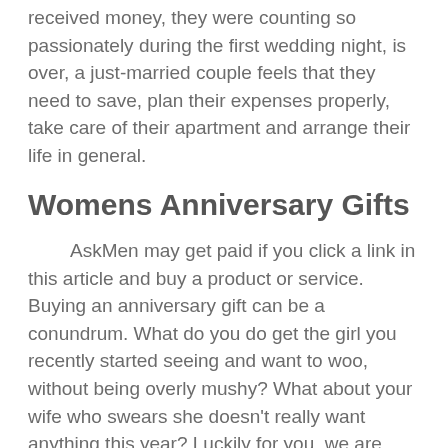received money, they were counting so passionately during the first wedding night, is over, a just-married couple feels that they need to save, plan their expenses properly, take care of their apartment and arrange their life in general.
Womens Anniversary Gifts
AskMen may get paid if you click a link in this article and buy a product or service. Buying an anniversary gift can be a conundrum. What do you do get the girl you recently started seeing and want to woo, without being overly mushy? What about your wife who swears she doesn't really want anything this year? Luckily for you, we are here to help, with our carefully curated list of ample inspiration.
So you're stuck for ideas on what to buy your wife or girlfriend this coming anniversary? Luckily you've come